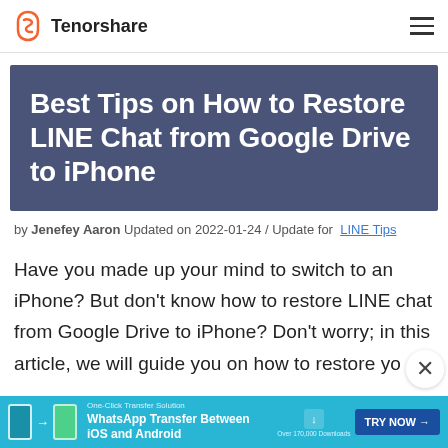Tenorshare
Best Tips on How to Restore LINE Chat from Google Drive to iPhone
by Jenefey Aaron Updated on 2022-01-24 / Update for LINE Tips
Have you made up your mind to switch to an iPhone? But don't know how to restore LINE chat from Google Drive to iPhone? Don't worry; in this article, we will guide you on how to restore yo
[Figure (infographic): Tenorshare promotional ad banner: WhatsApp Transfer Between iOS and Android with TRY NOW button]